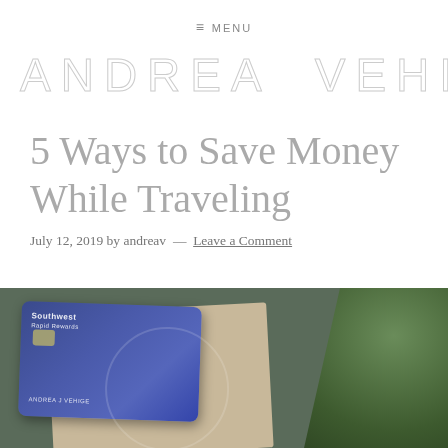MENU
ANDREA VEHIGE
5 Ways to Save Money While Traveling
July 12, 2019 by andreav — Leave a Comment
[Figure (photo): A Southwest credit card placed on a beige/tan envelope or folder, with green plant leaves visible in the background, soft muted tones.]